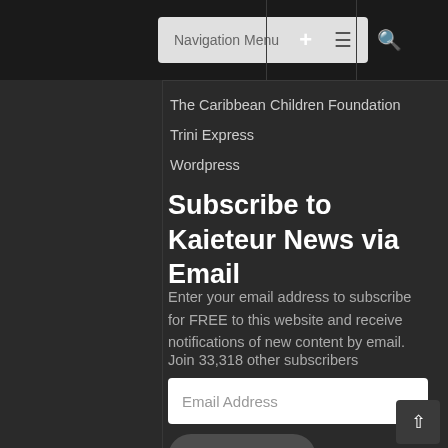Navigation Menu
The Caribbean Children Foundation
Trini Express
Wordpress
Subscribe to Kaieteur News via Email
Enter your email address to subscribe for FREE to this website and receive notifications of new content by email.
Join 33,318 other subscribers
Email Address
Subscribe